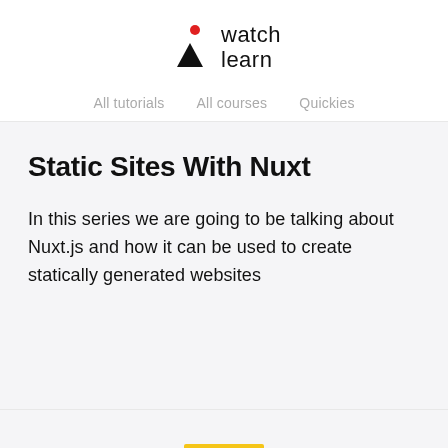[Figure (logo): iWatchLearn logo: red dot above black triangle on the left, text 'watch learn' on the right in two lines]
All tutorials   All courses   Quickies
Static Sites With Nuxt
In this series we are going to be talking about Nuxt.js and how it can be used to create statically generated websites